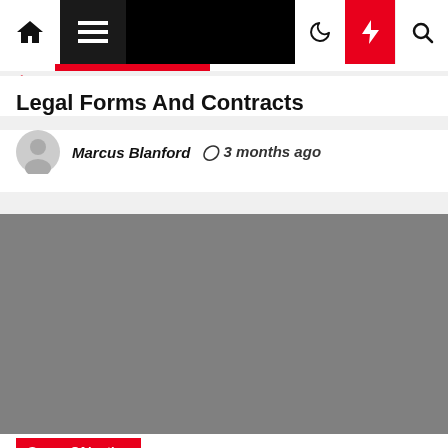Navigation bar with home, menu, dark mode, lightning, and search icons
Legal Forms And Contracts
Marcus Blanford  3 months ago
[Figure (photo): Large gray placeholder image for the article featured image]
Sense Of justice